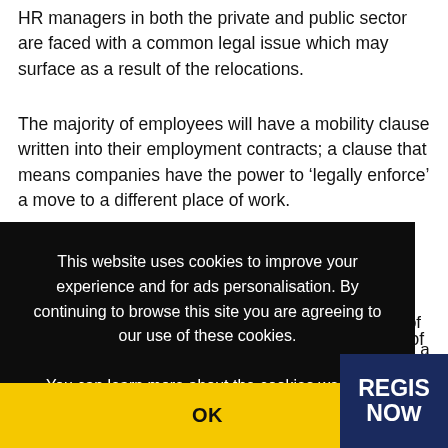HR managers in both the private and public sector are faced with a common legal issue which may surface as a result of the relocations.
The majority of employees will have a mobility clause written into their employment contracts; a clause that means companies have the power to 'legally enforce' a move to a different place of work.
Cookie overlay (partially occluded text): ...are ...nt of ...e in a ...avel
This website uses cookies to improve your experience and for ads personalisation. By continuing to browse this site you are agreeing to our use of these cookies. You can learn more about the cookies we use here.
OK
REGIS NOW